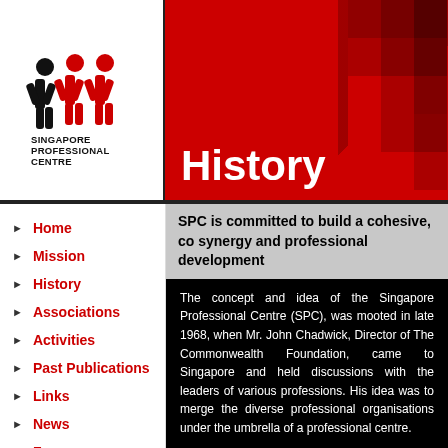[Figure (logo): Singapore Professional Centre logo with three stylized figures and text]
History
Home
Mission
History
Associations
Activities
Past Publications
Links
News
Form
SPC is committed to build a cohesive, co synergy and professional development
The concept and idea of the Singapore Professional Centre (SPC), was mooted in late 1968, when Mr. John Chadwick, Director of The Commonwealth Foundation, came to Singapore and held discussions with the leaders of various professions. His idea was to merge the diverse professional organisations under the umbrella of a professional centre.
A project committee, comprising representatives from a number of professional bodies, was immediately formed to look into the feasibility of such a centre in Singapore. Two years later, with a generous grant from The Commonwealth Foundation, the Singapore Professional
Mr S.R...